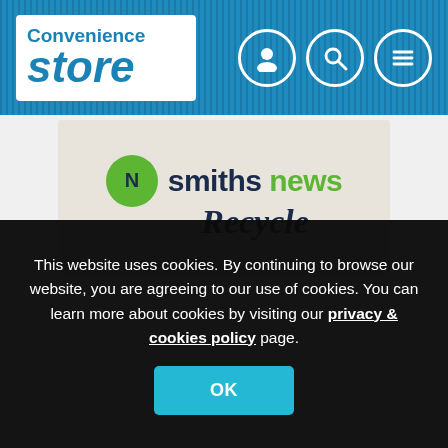Convenience Store
[Figure (logo): Smiths News Recycle logo on textured off-white background]
This website uses cookies. By continuing to browse our website, you are agreeing to our use of cookies. You can learn more about cookies by visiting our privacy & cookies policy page.